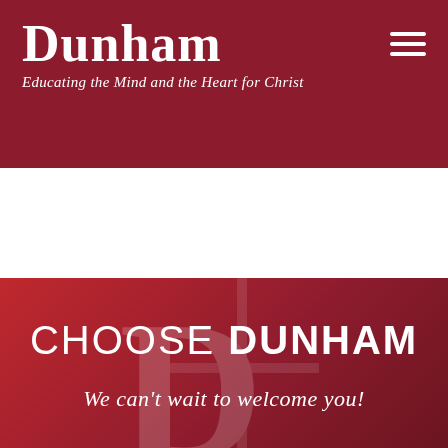Dunham — Educating the Mind and the Heart for Christ
[Figure (logo): Dunham school logo with name and tagline on dark red background with hamburger menu icon]
CHOOSE DUNHAM
We can't wait to welcome you!